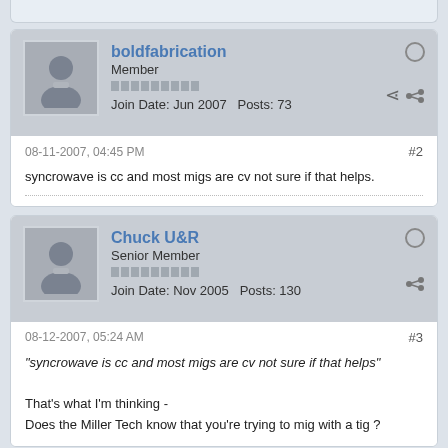[Figure (screenshot): Top strip of previous post at top of page]
boldfabrication
Member
Join Date: Jun 2007  Posts: 73
08-11-2007, 04:45 PM
#2
syncrowave is cc and most migs are cv not sure if that helps.
Chuck U&R
Senior Member
Join Date: Nov 2005  Posts: 130
08-12-2007, 05:24 AM
#3
"syncrowave is cc and most migs are cv not sure if that helps"
That's what I'm thinking -
Does the Miller Tech know that you're trying to mig with a tig ?